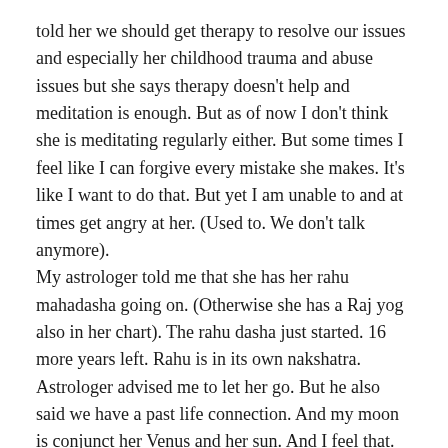told her we should get therapy to resolve our issues and especially her childhood trauma and abuse issues but she says therapy doesn't help and meditation is enough. But as of now I don't think she is meditating regularly either. But some times I feel like I can forgive every mistake she makes. It's like I want to do that. But yet I am unable to and at times get angry at her. (Used to. We don't talk anymore).
My astrologer told me that she has her rahu mahadasha going on. (Otherwise she has a Raj yog also in her chart). The rahu dasha just started. 16 more years left. Rahu is in its own nakshatra. Astrologer advised me to let her go. But he also said we have a past life connection. And my moon is conjunct her Venus and her sun. And I feel that. We both did. She and I both used to wonder at the strength of this attraction/bond. It was maddening.
Right now I have my sun/moon dasha going on. My astrologer said don't get too emotional and do something